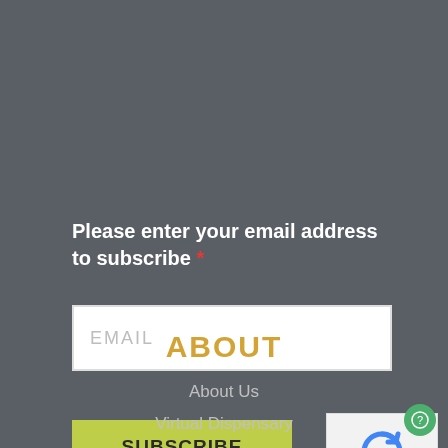Please enter your email address to subscribe *
[Figure (screenshot): Email input field with placeholder text EMAIL]
[Figure (screenshot): Green SUBSCRIBE button]
[Figure (screenshot): reCAPTCHA widget with Privacy - Terms links]
ABOUT
About Us
Virtual Dispensary